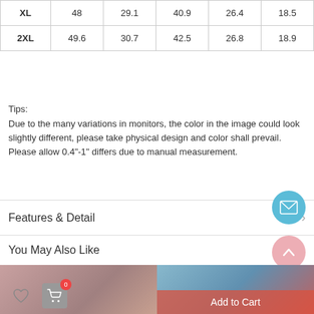|  |  |  |  |  |  |
| --- | --- | --- | --- | --- | --- |
| XL | 48 | 29.1 | 40.9 | 26.4 | 18.5 |
| 2XL | 49.6 | 30.7 | 42.5 | 26.8 | 18.9 |
Tips:
Due to the many variations in monitors, the color in the image could look slightly different, please take physical design and color shall prevail. Please allow 0.4"-1" differs due to manual measurement.
Features & Detail
You May Also Like
[Figure (photo): Two product photos side by side showing women modeling clothing items]